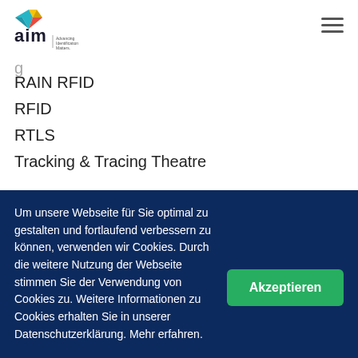AIM - Advancing Identification Matters
RAIN RFID
RFID
RTLS
Tracking & Tracing Theatre
Um unsere Webseite für Sie optimal zu gestalten und fortlaufend verbessern zu können, verwenden wir Cookies. Durch die weitere Nutzung der Webseite stimmen Sie der Verwendung von Cookies zu. Weitere Informationen zu Cookies erhalten Sie in unserer Datenschutzerklärung. Mehr erfahren.
Akzeptieren